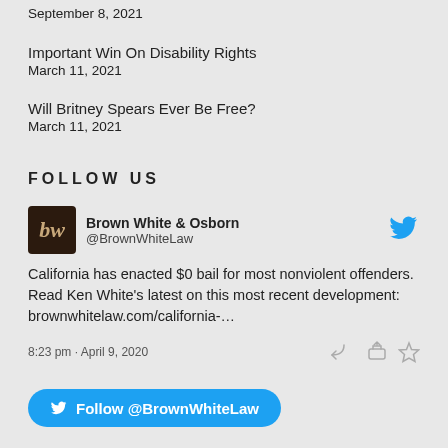September 8, 2021
Important Win On Disability Rights
March 11, 2021
Will Britney Spears Ever Be Free?
March 11, 2021
FOLLOW US
Brown White & Osborn @BrownWhiteLaw
California has enacted $0 bail for most nonviolent offenders. Read Ken White's latest on this most recent development: brownwhitelaw.com/california-…
8:23 pm · April 9, 2020
Follow @BrownWhiteLaw